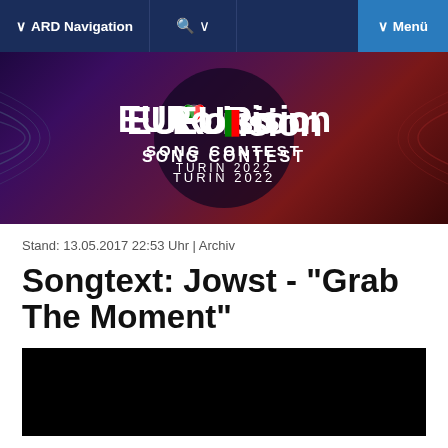ARD Navigation  |  🔍 ∨  |  ∨ Menü
[Figure (illustration): Eurovision Song Contest Turin 2022 logo on a dark purple and red abstract background]
Stand: 13.05.2017 22:53 Uhr | Archiv
Songtext: Jowst - "Grab The Moment"
[Figure (screenshot): Black video player placeholder]